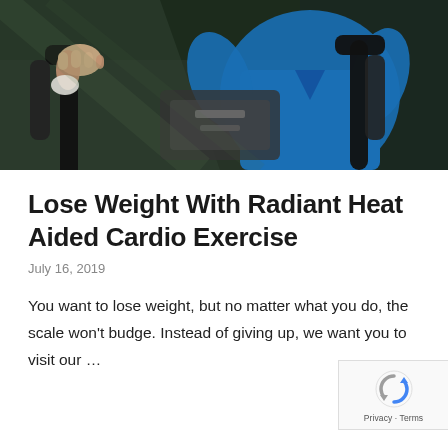[Figure (photo): Person in blue shirt on exercise bike/cycling machine, close-up of hands gripping handlebars in a gym setting]
Lose Weight With Radiant Heat Aided Cardio Exercise
July 16, 2019
You want to lose weight, but no matter what you do, the scale won't budge. Instead of giving up, we want you to visit our ...
[Figure (logo): reCAPTCHA badge with Privacy and Terms links]